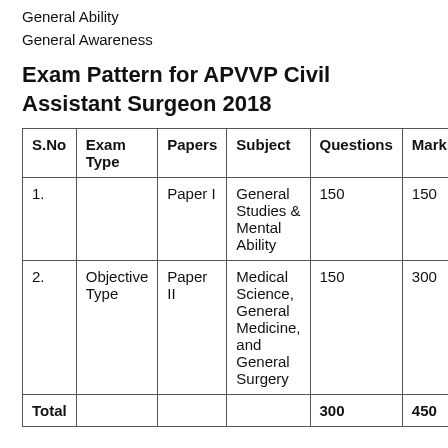General Ability
General Awareness
Exam Pattern for APVVP Civil Assistant Surgeon 2018
| S.No | Exam Type | Papers | Subject | Questions | Marks |
| --- | --- | --- | --- | --- | --- |
| 1. |  | Paper I | General Studies & Mental Ability | 150 | 150 |
| 2. | Objective Type | Paper II | Medical Science, General Medicine, and General Surgery | 150 | 300 |
| Total |  |  |  | 300 | 450 |